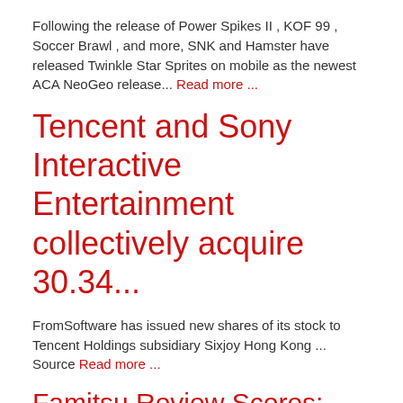Following the release of Power Spikes II , KOF 99 , Soccer Brawl , and more, SNK and Hamster have released Twinkle Star Sprites on mobile as the newest ACA NeoGeo release... Read more ...
Tencent and Sony Interactive Entertainment collectively acquire 30.34...
FromSoftware has issued new shares of its stock to Tencent Holdings subsidiary Sixjoy Hong Kong ... Source Read more ...
Famitsu Review Scores: Issue 1761
This week's Famitsu review scores are in. Alice Gear Aegis CS: Concerto of Simulatrix (PS5, ... Source Read more ...
Variable aperture smartphone cameras will make a comeback next week
[Figure (photo): Red/orange colored smartphone or device image partially visible at bottom of page]